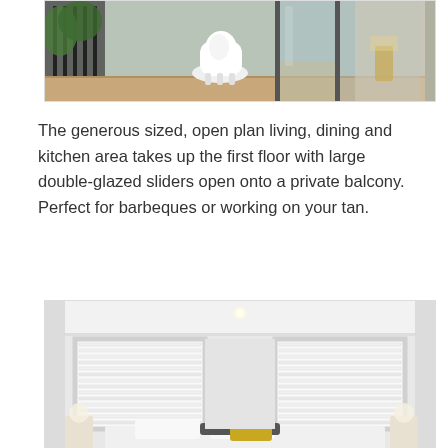[Figure (photo): Outdoor balcony area with a white modern chair, open glass sliding doors revealing a light wood floor interior and dining area beyond]
The generous sized, open plan living, dining and kitchen area takes up the first floor with large double-glazed sliders open onto a private balcony. Perfect for barbeques or working on your tan.
[Figure (photo): Bright white bedroom interior with horizontal slatted blinds on two windows, a bed with white linen and a yellow pillow accent, and a recessed ceiling light]